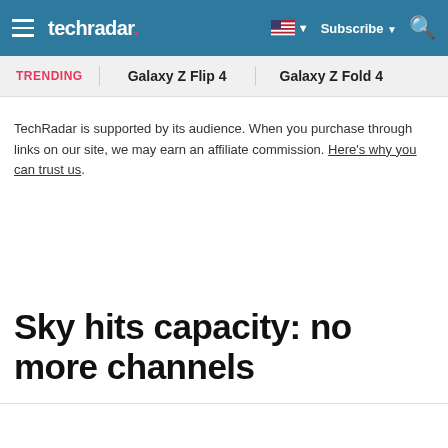techradar | Subscribe | Search
TRENDING   Galaxy Z Flip 4   Galaxy Z Fold 4
TechRadar is supported by its audience. When you purchase through links on our site, we may earn an affiliate commission. Here's why you can trust us.
Sky hits capacity: no more channels